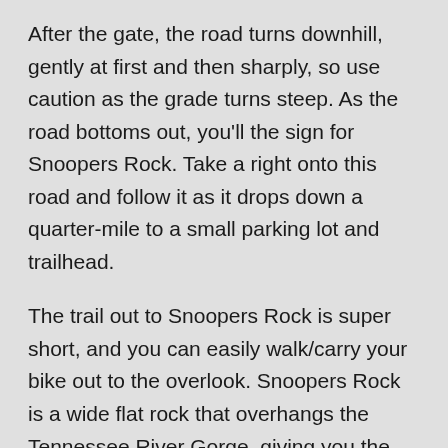After the gate, the road turns downhill, gently at first and then sharply, so use caution as the grade turns steep. As the road bottoms out, you'll the sign for Snoopers Rock. Take a right onto this road and follow it as it drops down a quarter-mile to a small parking lot and trailhead.
The trail out to Snoopers Rock is super short, and you can easily walk/carry your bike out to the overlook. Snoopers Rock is a wide flat rock that overhangs the Tennessee River Gorge, giving you the perfect platform to take in the amazing panoramic view of the gorge, arguably even better than the view from Insurance Bluff. It's definitely worth the detour!